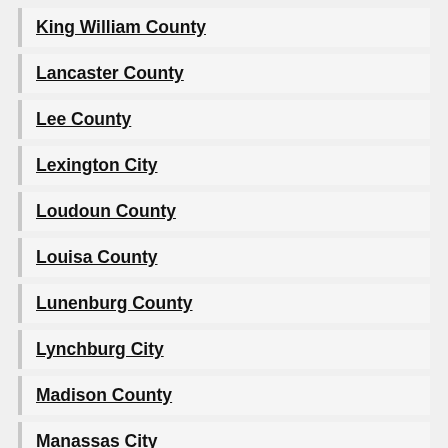King William County
Lancaster County
Lee County
Lexington City
Loudoun County
Louisa County
Lunenburg County
Lynchburg City
Madison County
Manassas City